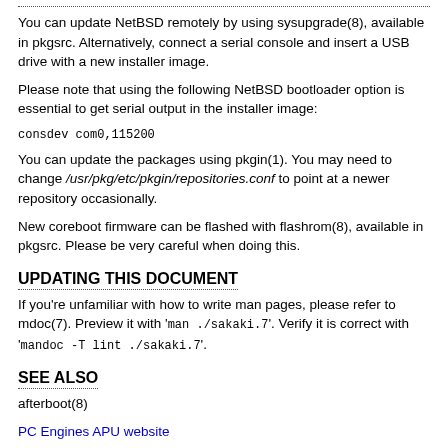You can update NetBSD remotely by using sysupgrade(8), available in pkgsrc. Alternatively, connect a serial console and insert a USB drive with a new installer image.
Please note that using the following NetBSD bootloader option is essential to get serial output in the installer image:
You can update the packages using pkgin(1). You may need to change /usr/pkg/etc/pkgin/repositories.conf to point at a newer repository occasionally.
New coreboot firmware can be flashed with flashrom(8), available in pkgsrc. Please be very careful when doing this.
UPDATING THIS DOCUMENT
If you're unfamiliar with how to write man pages, please refer to mdoc(7). Preview it with 'man ./sakaki.7'. Verify it is correct with 'mandoc -T lint ./sakaki.7'.
SEE ALSO
afterboot(8)
PC Engines APU website